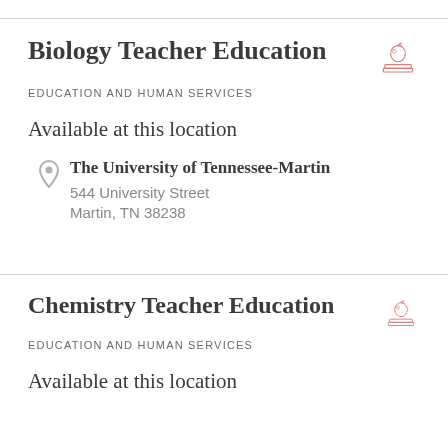Biology Teacher Education
EDUCATION AND HUMAN SERVICES
Available at this location
The University of Tennessee-Martin
544 University Street
Martin, TN 38238
Chemistry Teacher Education
EDUCATION AND HUMAN SERVICES
Available at this location